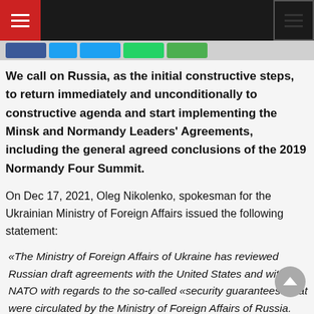Navigation header with hamburger menus
We call on Russia, as the initial constructive steps, to return immediately and unconditionally to constructive agenda and start implementing the Minsk and Normandy Leaders' Agreements, including the general agreed conclusions of the 2019 Normandy Four Summit.
On Dec 17, 2021, Oleg Nikolenko, spokesman for the Ukrainian Ministry of Foreign Affairs issued the following statement:
«The Ministry of Foreign Affairs of Ukraine has reviewed Russian draft agreements with the United States and with NATO with regards to the so-called «security guarantees» that were circulated by the Ministry of Foreign Affairs of Russia.